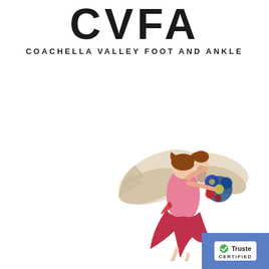[Figure (logo): CVFA logo — large bold letters 'CVFA' with subtitle 'COACHELLA VALLEY FOOT AND ANKLE']
[Figure (illustration): Vintage Victorian illustration of a winged angel in a flowing pink/red dress, carrying a child and holding a bouquet of blue flowers]
[Figure (logo): Trusteddoctor.com Certified badge — white badge with blue checkmark and 'Trusted' text, 'CERTIFIED' label below, on blue background]